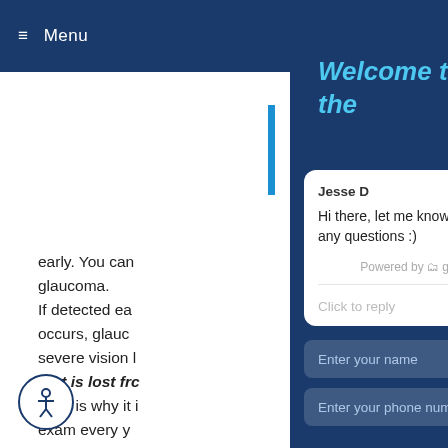≡ Menu
early. You can glaucoma. If detected ea occurs, glauc severe vision l that is lost fr  This is why it i exam every y unchanged. Anyone can g hclude:
[Figure (screenshot): Chat widget overlay on a medical website. Dark blue background with cyan italic bold title 'Welcome to the', a white chat card showing agent 'Jesse D' with message 'Hi there, let me know if you have any questions :)', powered by Gorgias branding, a click to reply area, and input fields for name and phone number. Blue X close button at bottom right.]
Jesse D
Hi there, let me know if you have any questions :)
Powered by gorgias
Click to reply
Enter your name
Enter your phone number